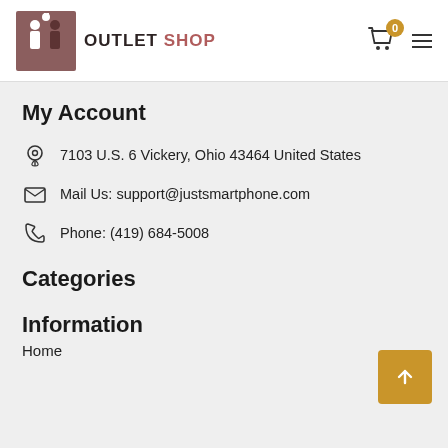OUTLET SHOP
My Account
7103 U.S. 6 Vickery, Ohio 43464 United States
Mail Us: support@justsmartphone.com
Phone: (419) 684-5008
Categories
Information
Home